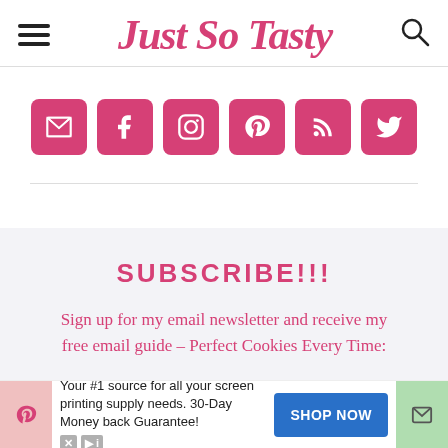Just So Tasty
[Figure (infographic): Row of six social media icon buttons (email, Facebook, Instagram, Pinterest, RSS, Twitter) in pink/rose color rounded square buttons]
SUBSCRIBE!!!
Sign up for my email newsletter and receive my free email guide – Perfect Cookies Every Time:
[Figure (infographic): Advertisement bar at bottom: pink left panel with Pinterest icon, ad text 'Your #1 source for all your screen printing supply needs. 30-Day Money back Guarantee!' with blue SHOP NOW button, green right panel with email icon]